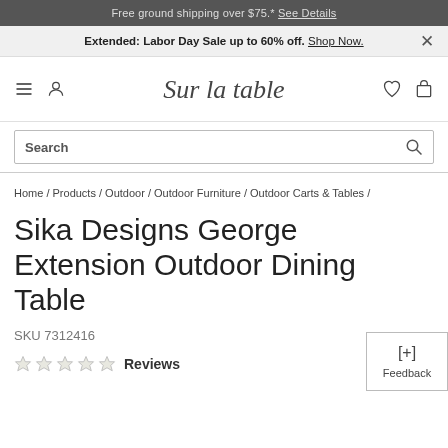Free ground shipping over $75.* See Details
Extended: Labor Day Sale up to 60% off. Shop Now..
[Figure (logo): Sur la table script logo in dark gray italic font]
Search
Home / Products / Outdoor / Outdoor Furniture / Outdoor Carts & Tables /
Sika Designs George Extension Outdoor Dining Table
SKU 7312416
Reviews